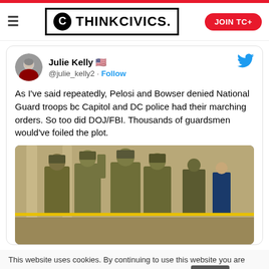ThinkCivics. — Navigation bar with logo and JOIN TC+ button
[Figure (screenshot): Embedded tweet from Julie Kelly (@julie_kelly2) with US flag emoji and Follow button, Twitter bird icon, tweet text: As I've said repeatedly, Pelosi and Bowser denied National Guard troops bc Capitol and DC police had their marching orders. So too did DOJ/FBI. Thousands of guardsmen would've foiled the plot. With attached image of National Guard soldiers in full tactical gear inside a government building.]
This website uses cookies. By continuing to use this website you are giving consent to cookies being used. Visit our Priv... Cookie
[Figure (advertisement): MAC Cosmetics advertisement showing colorful lipsticks with SHOP NOW button]